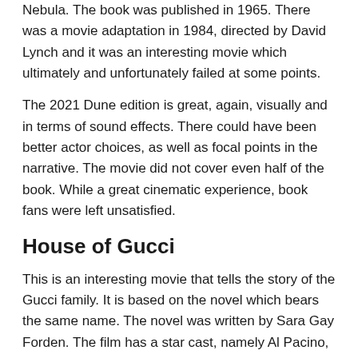Nebula. The book was published in 1965. There was a movie adaptation in 1984, directed by David Lynch and it was an interesting movie which ultimately and unfortunately failed at some points.
The 2021 Dune edition is great, again, visually and in terms of sound effects. There could have been better actor choices, as well as focal points in the narrative. The movie did not cover even half of the book. While a great cinematic experience, book fans were left unsatisfied.
House of Gucci
This is an interesting movie that tells the story of the Gucci family. It is based on the novel which bears the same name. The novel was written by Sara Gay Forden. The film has a star cast, namely Al Pacino, Adam Driver, Jeremy Irons, Jared Leto and Lady Gaga. It is quite the list of stars and the movie is decent. The story of the Gucci family is filled with thrilling moments, as well as plenty of drama. If you want to know more about the family behind many people's fashion choices, this is the one to go for.